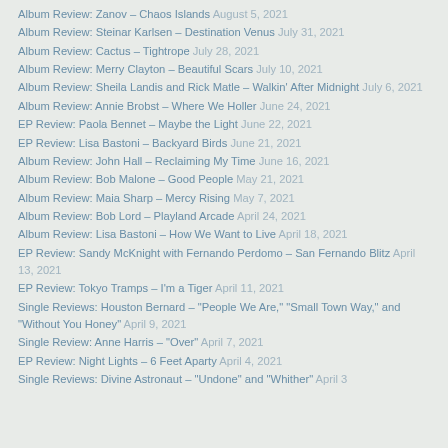Album Review: Zanov – Chaos Islands August 5, 2021
Album Review: Steinar Karlsen – Destination Venus July 31, 2021
Album Review: Cactus – Tightrope July 28, 2021
Album Review: Merry Clayton – Beautiful Scars July 10, 2021
Album Review: Sheila Landis and Rick Matle – Walkin' After Midnight July 6, 2021
Album Review: Annie Brobst – Where We Holler June 24, 2021
EP Review: Paola Bennet – Maybe the Light June 22, 2021
EP Review: Lisa Bastoni – Backyard Birds June 21, 2021
Album Review: John Hall – Reclaiming My Time June 16, 2021
Album Review: Bob Malone – Good People May 21, 2021
Album Review: Maia Sharp – Mercy Rising May 7, 2021
Album Review: Bob Lord – Playland Arcade April 24, 2021
Album Review: Lisa Bastoni – How We Want to Live April 18, 2021
EP Review: Sandy McKnight with Fernando Perdomo – San Fernando Blitz April 13, 2021
EP Review: Tokyo Tramps – I'm a Tiger April 11, 2021
Single Reviews: Houston Bernard – "People We Are," "Small Town Way," and "Without You Honey" April 9, 2021
Single Review: Anne Harris – "Over" April 7, 2021
EP Review: Night Lights – 6 Feet Aparty April 4, 2021
Single Reviews: Divine Astronaut – "Undone" and "Whither" April 3